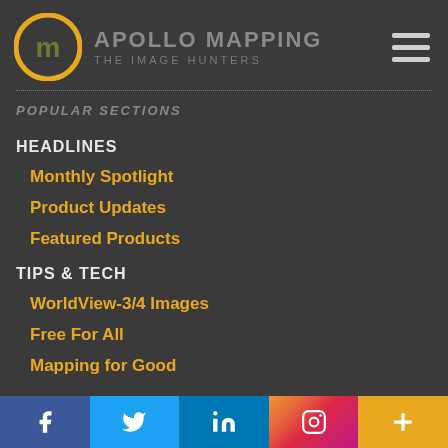[Figure (logo): Apollo Mapping logo: circular emblem with stylized AM letters in olive green on yellow/orange ring, with brand name APOLLO MAPPING and tagline THE IMAGE HUNTERS]
POPULAR SECTIONS
HEADLINES
Monthly Spotlight
Product Updates
Featured Products
TIPS & TECH
WorldView-3/4 Images
Free For All
Mapping for Good
[Figure (infographic): Social media icon bar at bottom: Facebook (dark blue), Twitter (light blue), LinkedIn (blue), Instagram (gradient), and More/plus (orange)]